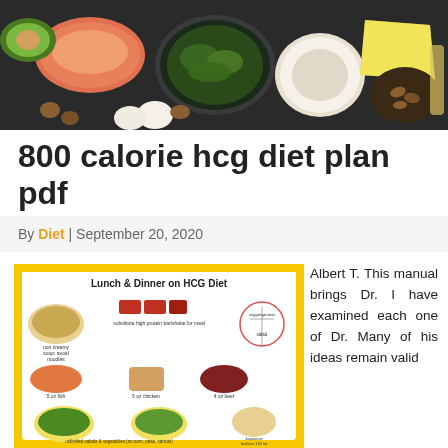[Figure (photo): Banner photo of keto/healthy foods including salmon, spinach, coconut, cheese, almonds, avocado, egg on a dark surface]
800 calorie hcg diet plan pdf
By Diet | September 20, 2020
[Figure (infographic): Lunch & Dinner on HCG Diet infographic on yellow background showing non creamy soup (avoid noodles), substitute high protein bar/shake for meal, 5 oz fish, 5 oz chicken, 4 oz beef, veggies/protein/salad circle diagram, unlimited salads & vegetables (no corn, peas, carrots), Japanese fashion 116 ml]
Albert T. This manual brings Dr. I have examined each one of Dr. Many of his ideas remain valid